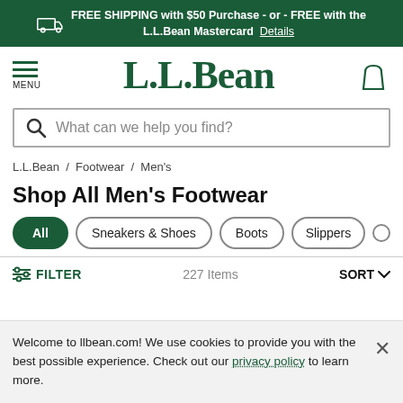FREE SHIPPING with $50 Purchase - or - FREE with the L.L.Bean Mastercard Details
[Figure (logo): L.L.Bean logo with menu icon and shopping bag icon]
What can we help you find?
L.L.Bean / Footwear / Men's
Shop All Men's Footwear
All
Sneakers & Shoes
Boots
Slippers
FILTER   227 Items   SORT
Welcome to llbean.com! We use cookies to provide you with the best possible experience. Check out our privacy policy to learn more.